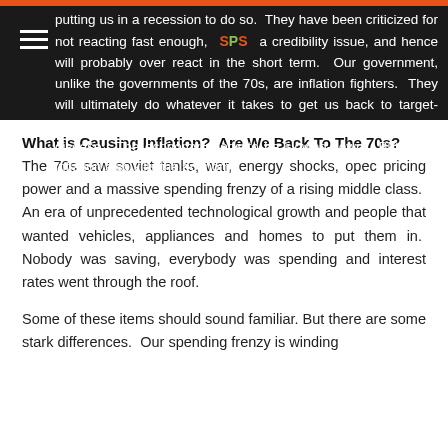putting us in a recession to do so. They have been criticized for not reacting fast enough, had a credibility issue, and hence will probably over react in the short term. Our government, unlike the governments of the 70s, are inflation fighters. They will ultimately do whatever it takes to get us back to target-inflation, with the mindset that the cure is not as bad as the disease. The economy needs to be slowed-down. But killing inflation also kills the economy
What is Causing Inflation? Are We Back To The 70s?
The 70s saw soviet tanks, war, energy shocks, opec pricing power and a massive spending frenzy of a rising middle class. An era of unprecedented technological growth and people that wanted vehicles, appliances and homes to put them in. Nobody was saving, everybody was spending and interest rates went through the roof.
Some of these items should sound familiar. But there are some stark differences. Our spending frenzy is winding